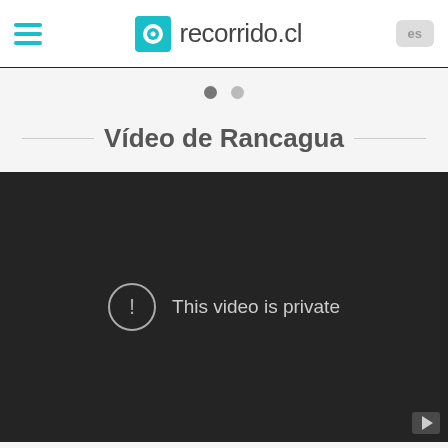recorrido.cl
[Figure (screenshot): Two pagination dots — one dark gray (active) and one light gray (inactive)]
Vídeo de Rancagua
[Figure (screenshot): Embedded video player showing 'This video is private' message with exclamation circle icon on dark background]